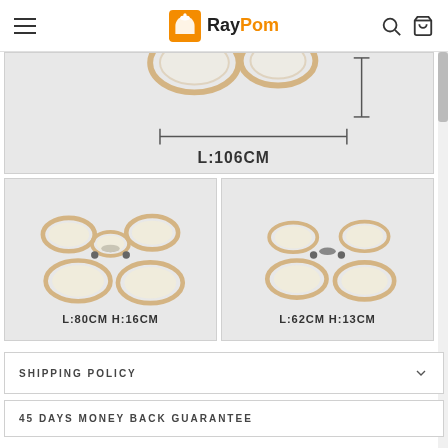RayPom
[Figure (photo): Ceiling light fixture dimension diagram showing L:106CM measurement with horizontal arrow]
[Figure (photo): Ceiling ring light cluster, 5 rings, label: L:80CM H:16CM]
[Figure (photo): Ceiling ring light cluster, 4 rings, label: L:62CM H:13CM]
SHIPPING POLICY
45 DAYS MONEY BACK GUARANTEE